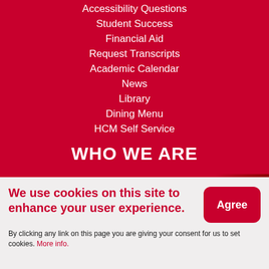Accessibility Questions
Student Success
Financial Aid
Request Transcripts
Academic Calendar
News
Library
Dining Menu
HCM Self Service
WHO WE ARE
We use cookies on this site to enhance your user experience.
By clicking any link on this page you are giving your consent for us to set cookies. More info.